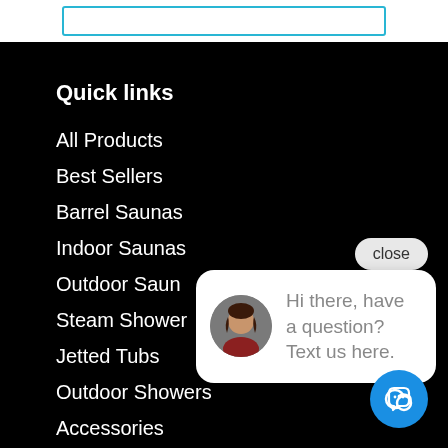[Figure (screenshot): Search box input field with cyan/teal border at top of page]
Quick links
All Products
Best Sellers
Barrel Saunas
Indoor Saunas
Outdoor Saun...
Steam Shower...
Jetted Tubs
Outdoor Showers
Accessories
[Figure (screenshot): Chat popup overlay with close button, avatar of a woman, and message: Hi there, have a question? Text us here. Blue chat icon button at bottom right.]